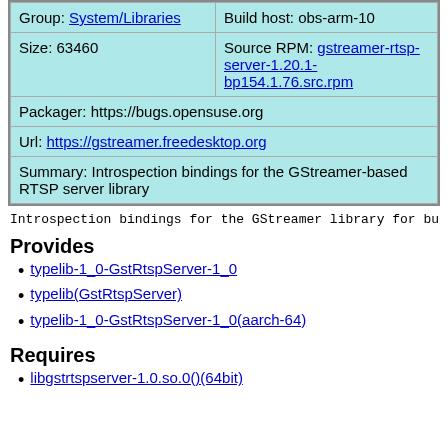| Group: System/Libraries | Build host: obs-arm-10 |
| Size: 63460 | Source RPM: gstreamer-rtsp-server-1.20.1-bp154.1.76.src.rpm |
| Packager: https://bugs.opensuse.org |  |
| Url: https://gstreamer.freedesktop.org |  |
| Summary: Introspection bindings for the GStreamer-based RTSP server library |  |
Introspection bindings for the GStreamer library for bui...
Provides
typelib-1_0-GstRtspServer-1_0
typelib(GstRtspServer)
typelib-1_0-GstRtspServer-1_0(aarch-64)
Requires
libgstrtspserver-1.0.so.0()(64bit)